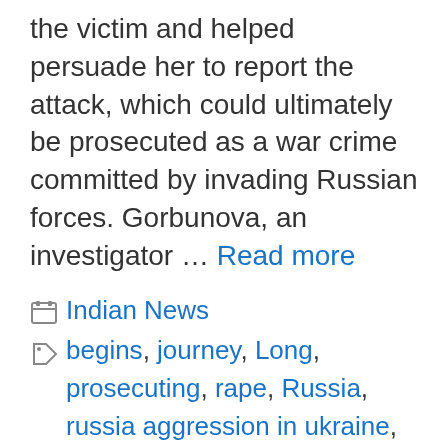the victim and helped persuade her to report the attack, which could ultimately be prosecuted as a war crime committed by invading Russian forces. Gorbunova, an investigator … Read more
Categories: Indian News
Tags: begins, journey, Long, prosecuting, rape, Russia, russia aggression in ukraine, Russia News, russia Ukraine, Russia Ukraine conflict, russia Ukraine crisis, Russia Ukraine Crisis Live News, Russia Ukraine crisis news, Russia Ukraine News, russia Ukraine War, russia war on ukraine, russian troops rapes, Ukraine, Ukraine Crisis Live, Ukraine crisis today latest updates, Ukraine News, Ukraine News